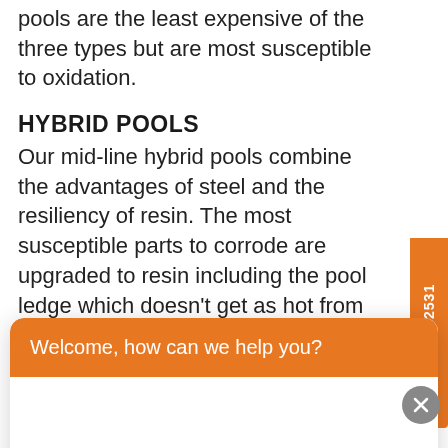pools are the least expensive of the three types but are most susceptible to oxidation.
HYBRID POOLS
Our mid-line hybrid pools combine the advantages of steel and the resiliency of resin. The most susceptible parts to corrode are upgraded to resin including the pool ledge which doesn't get as hot from the sun as steel ledged pools
[Figure (screenshot): Orange chat widget overlay with header 'Welcome, how can we help you?' and text input field saying 'Write your message...' with a send button]
components. They are the longest-